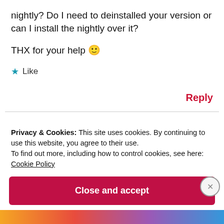nightly? Do I need to deinstalled your version or can I install the nightly over it?
THX for your help 🙂
★ Like
Reply
Privacy & Cookies: This site uses cookies. By continuing to use this website, you agree to their use.
To find out more, including how to control cookies, see here: Cookie Policy
Close and accept